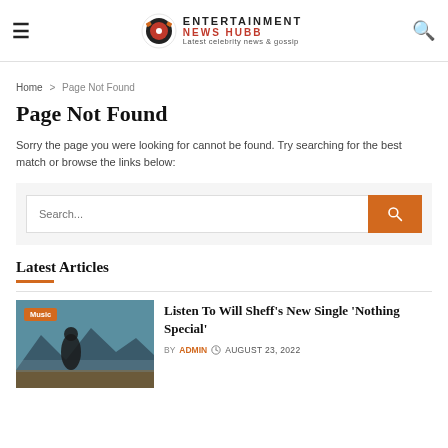ENTERTAINMENT NEWS HUBB — Latest celebrity news & gossip
Home > Page Not Found
Page Not Found
Sorry the page you were looking for cannot be found. Try searching for the best match or browse the links below:
Search...
Latest Articles
Listen To Will Sheff's New Single 'Nothing Special'
BY ADMIN  AUGUST 23, 2022